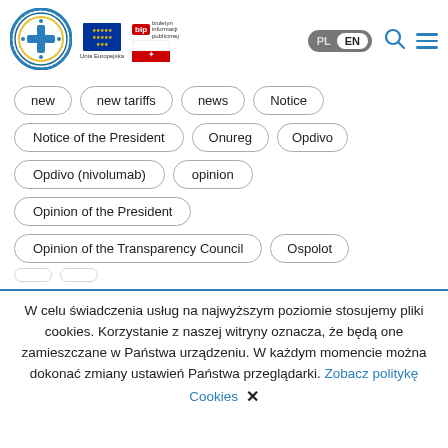[Figure (logo): Agencja Oceny Technologii Medycznych i Taryfikacji circular logo with cross and star symbols]
[Figure (logo): Unia Europejska EU flag logo with text Unia Europejska]
[Figure (logo): BIP - Biuletyn Informacji Publicznej logo with Polish flag]
[Figure (infographic): PL/EN language toggle switch with EN selected]
new
new tariffs
news
Notice
Notice of the President
Onureg
Opdivo
Opdivo (nivolumab)
opinion
Opinion of the President
Opinion of the Transparency Council
Ospolot
W celu świadczenia usług na najwyższym poziomie stosujemy pliki cookies. Korzystanie z naszej witryny oznacza, że będą one zamieszczane w Państwa urządzeniu. W każdym momencie można dokonać zmiany ustawień Państwa przeglądarki. Zobacz politykę Cookies  X